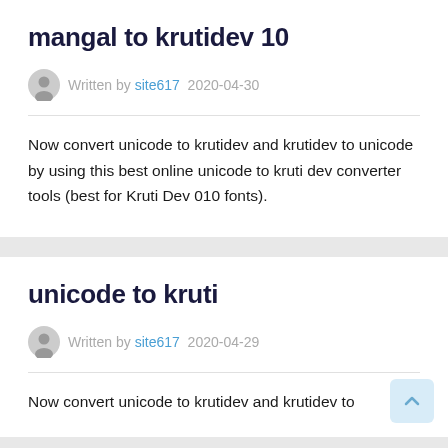mangal to krutidev 10
Written by site617  2020-04-30
Now convert unicode to krutidev and krutidev to unicode by using this best online unicode to kruti dev converter tools (best for Kruti Dev 010 fonts).
unicode to kruti
Written by site617  2020-04-29
Now convert unicode to krutidev and krutidev to...